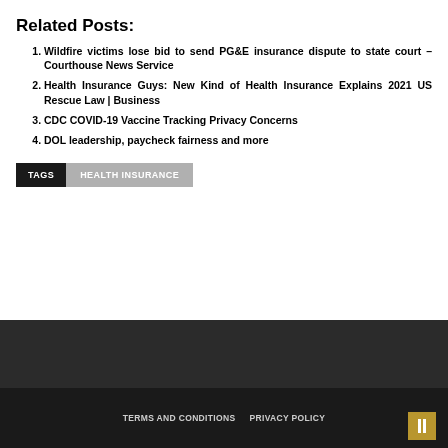Related Posts:
Wildfire victims lose bid to send PG&E insurance dispute to state court – Courthouse News Service
Health Insurance Guys: New Kind of Health Insurance Explains 2021 US Rescue Law | Business
CDC COVID-19 Vaccine Tracking Privacy Concerns
DOL leadership, paycheck fairness and more
TAGS  HEALTH INSURANCE
TERMS AND CONDITIONS   PRIVACY POLICY